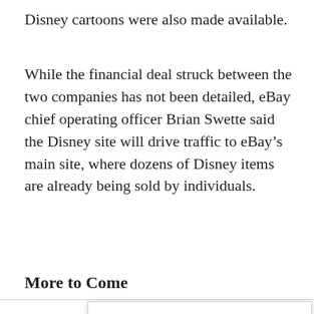Disney cartoons were also made available.
While the financial deal struck between the two companies has not been detailed, eBay chief operating officer Brian Swette said the Disney site will drive traffic to eBay’s main site, where dozens of Disney items are already being sold by individuals.
More to Come
This website stores cookies on your computer. These cookies are used to collect information about how you interact with our website and allow us to remember you. We use this information in order to improve and customize your browsing experience and for analytics and metrics about our visitors both on this website and other media. To find out more about the cookies we use, see our Privacy Policy. California residents have the right to direct us not to sell their personal information to third parties by filing an Opt-Out Request: Do Not Sell My Personal Info.
Accept